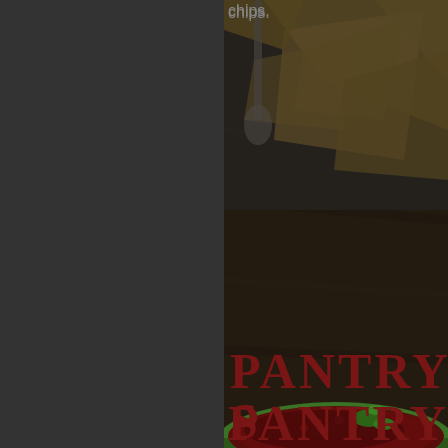chips.
[Figure (photo): Dark overhead photo of a green bowl filled with dark red salsa garnished with cilantro, surrounded by tortilla chips on a wooden surface. The left half of the image is a dark gray panel. At the top, partial text 'chips.' is visible. At the bottom, large bold dark red text reads 'PANTRY S' (partially cropped).]
PANTRY S